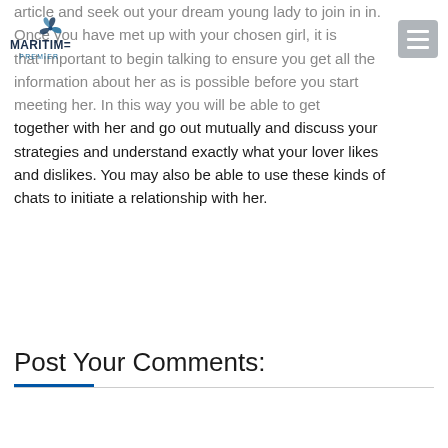Maritime Premier logo and navigation menu
article and seek out your dream young lady to join in in. Once you have met up with your chosen girl, it is that important to begin talking to ensure you get all the information about her as is possible before you start meeting her. In this way you will be able to get together with her and go out mutually and discuss your strategies and understand exactly what your lover likes and dislikes. You may also be able to use these kinds of chats to initiate a relationship with her.
Post Your Comments: